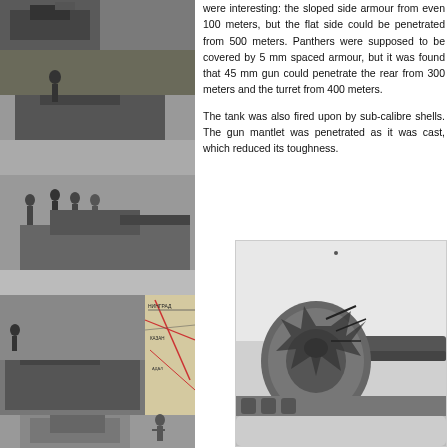[Figure (photo): Left column photo collage showing multiple WWII era tank photographs including tanks in fields, soldiers, and a map background]
were interesting: the sloped side armour from even 100 meters, but the flat side could be penetrated from 500 meters. Panthers were supposed to be covered by 5 mm spaced armour, but it was found that 45 mm gun could penetrate the rear from 300 meters and the turret from 400 meters.
The tank was also fired upon by sub-calibre shells. The gun mantlet was penetrated as it was cast, which reduced its toughness.
[Figure (photo): Close-up black and white photograph of a damaged or penetrated tank gun mantlet showing battle damage]